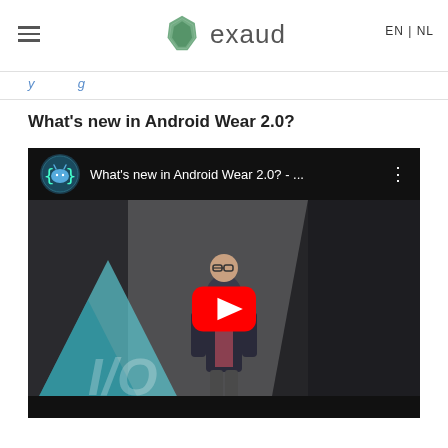exaud — EN | NL
...y...g...
What's new in Android Wear 2.0?
[Figure (screenshot): YouTube video embed showing 'What's new in Android Wear 2.0? - ...' with Android developer icon, a speaker on stage at Google I/O, and a red YouTube play button overlay.]